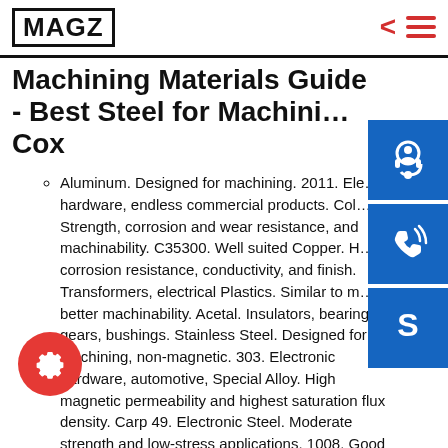MAGZ
Machining Materials Guide - Best Steel for Machining Cox
Aluminum. Designed for machining. 2011. Electronic hardware, endless commercial products. Cold. Strength, corrosion and wear resistance, and machinability. C35300. Well suited Copper. High corrosion resistance, conductivity, and finish. Transformers, electrical Plastics. Similar to machinability better machinability. Acetal. Insulators, bearings, gears, bushings. Stainless Steel. Designed for machining, non-magnetic. 303. Electronic hardware, automotive, Special Alloy. High magnetic permeability and highest saturation flux density. Carp 49. Electronic Steel. Moderate strength and low-stress applications. 1008. Good matte surface finish that makes it ium. High strength, light weight. Ti-6Al-4V. Aircraft and aerospace parts. Ground & polished. +/ Metal Strength